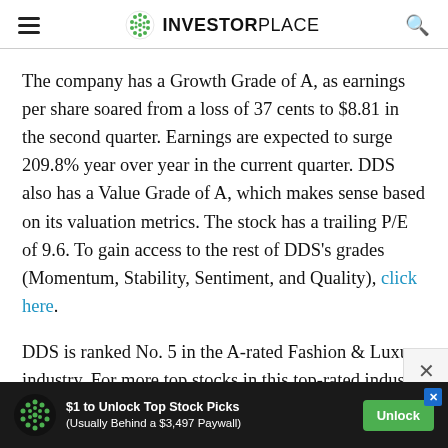INVESTORPLACE
The company has a Growth Grade of A, as earnings per share soared from a loss of 37 cents to $8.81 in the second quarter. Earnings are expected to surge 209.8% year over year in the current quarter. DDS also has a Value Grade of A, which makes sense based on its valuation metrics. The stock has a trailing P/E of 9.6. To gain access to the rest of DDS’s grades (Momentum, Stability, Sentiment, and Quality), click here.
DDS is ranked No. 5 in the A-rated Fashion & Luxury industry. For more top stocks in this top-rated industr
[Figure (other): Advertisement banner: $1 to Unlock Top Stock Picks (Usually Behind a $3,497 Paywall) with Unlock button and InvestorPlace green dot logo]